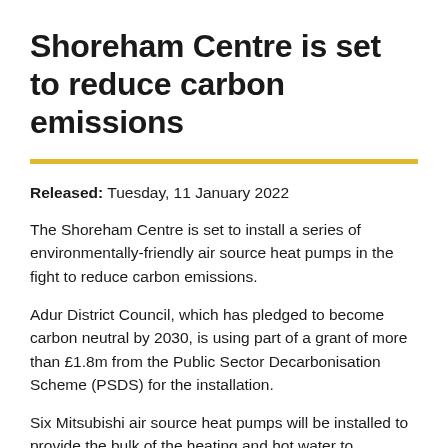Shoreham Centre is set to reduce carbon emissions
Released: Tuesday, 11 January 2022
The Shoreham Centre is set to install a series of environmentally-friendly air source heat pumps in the fight to reduce carbon emissions.
Adur District Council, which has pledged to become carbon neutral by 2030, is using part of a grant of more than £1.8m from the Public Sector Decarbonisation Scheme (PSDS) for the installation.
Six Mitsubishi air source heat pumps will be installed to provide the bulk of the heating and hot water to